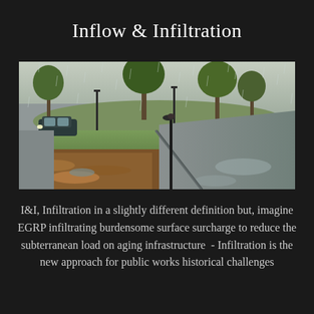Inflow & Infiltration
[Figure (photo): A rainy day street scene showing a wet road with puddles on the right side, a green median/lawn area with trees and lamp posts in the center, and a car driving in the background on the left. Heavy rain is visible.]
I&I, Infiltration in a slightly different definition but, imagine EGRP infiltrating burdensome surface surcharge to reduce the subterranean load on aging infrastructure  -  Infiltration is the new approach for public works historical challenges